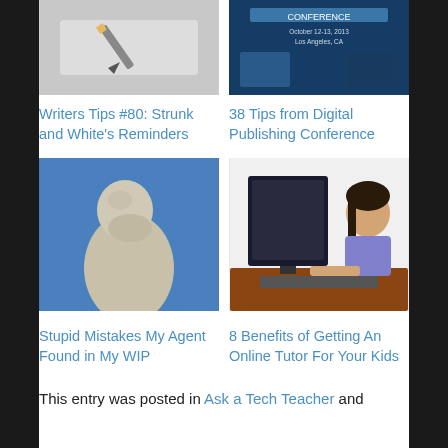[Figure (photo): Writers tips image showing pencil/writing on white/gray background]
Writers Tips #80: Strunk and White's Reminders
[Figure (photo): Digital Publishing Conference banner with dark blue background, October 12-13 2013 Los Angeles CA]
38 Tips from Digital Publishing Conference
[Figure (photo): Marble statue of a thinker with head in hand against blue sky background]
Stupid Mistakes My Agent Found in My WIP
[Figure (photo): Young girl with long dark hair typing on keyboard at desk with computer monitor]
8 Benefits of Getting An Online Tutor For Your Kids
This entry was posted in Ask a Tech Teacher and